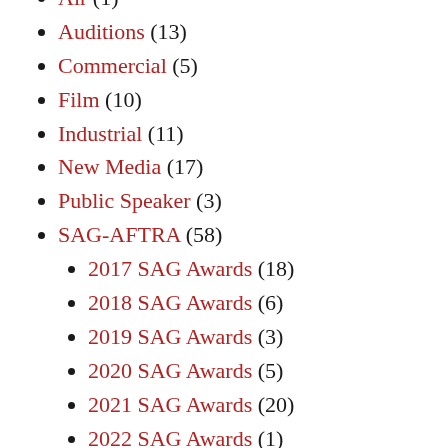Air (1)
Auditions (13)
Commercial (5)
Film (10)
Industrial (11)
New Media (17)
Public Speaker (3)
SAG-AFTRA (58)
2017 SAG Awards (18)
2018 SAG Awards (6)
2019 SAG Awards (3)
2020 SAG Awards (5)
2021 SAG Awards (20)
2022 SAG Awards (1)
Computer Geek (4)
Skills (25)
Survival (9)